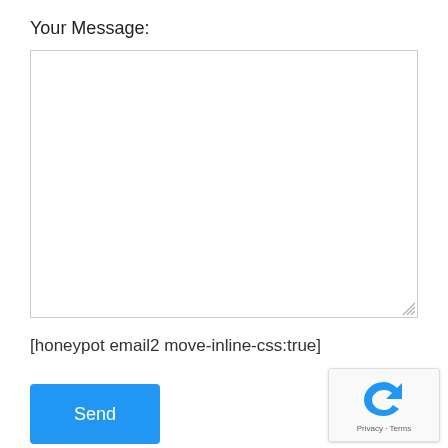Your Message:
[Figure (screenshot): Empty textarea input field with resize handle in bottom-right corner]
[honeypot email2 move-inline-css:true]
[Figure (other): Blue Send button]
[Figure (logo): reCAPTCHA widget with Privacy - Terms text]